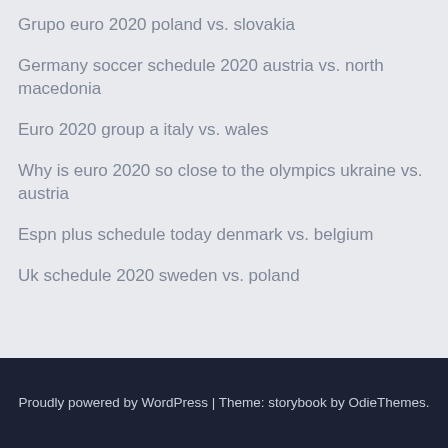Grupo euro 2020 poland vs. slovakia
Germany soccer schedule 2020 austria vs. north macedonia
Euro 2020 group a italy vs. wales
Why is euro 2020 so close to the olympics ukraine vs. austria
Espn plus schedule today denmark vs. belgium
Uk schedule 2020 sweden vs. poland
Proudly powered by WordPress | Theme: storybook by OdieThemes.